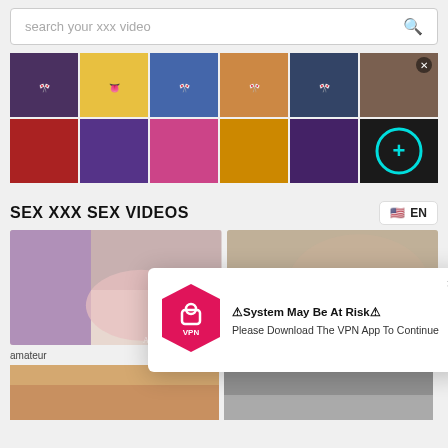search your xxx video
[Figure (screenshot): Anime/hentai advertisement banner grid with 12 thumbnail images in 2 rows of 6, with a close button and a teal plus/expand button]
SEX XXX SEX VIDEOS
EN
[Figure (photo): Video thumbnail showing amateur content, duration 6:00]
[Figure (photo): Video thumbnail showing a person, duration 4:00]
amateur
[Figure (screenshot): VPN popup notification: System May Be At Risk - Please Download The VPN App To Continue]
[Figure (photo): Bottom video thumbnails partially visible]